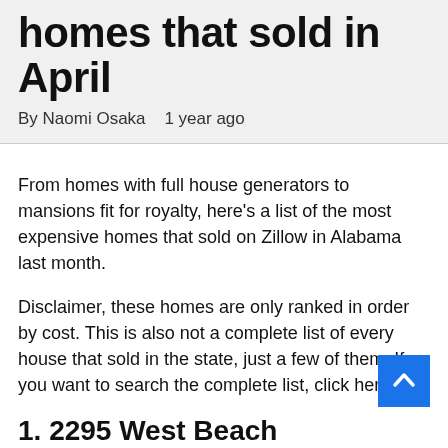homes that sold in April
By Naomi Osaka   1 year ago
From homes with full house generators to mansions fit for royalty, here’s a list of the most expensive homes that sold on Zillow in Alabama last month.
Disclaimer, these homes are only ranked in order by cost. This is also not a complete list of every house that sold in the state, just a few of them. If you want to search the complete list, click here.
1. 2295 West Beach